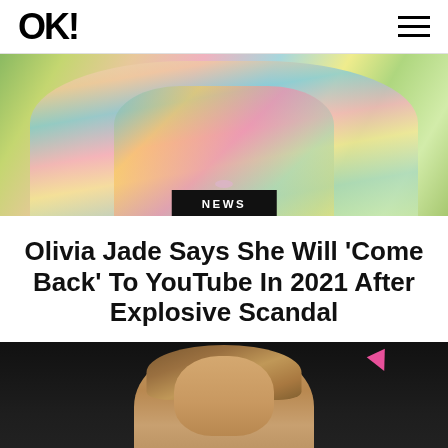OK!
[Figure (photo): Person wearing colorful tie-dye sweatshirt outdoors with greenery in background]
NEWS
Olivia Jade Says She Will 'Come Back' To YouTube In 2021 After Explosive Scandal
[Figure (photo): Woman with brown highlighted hair against dark background]